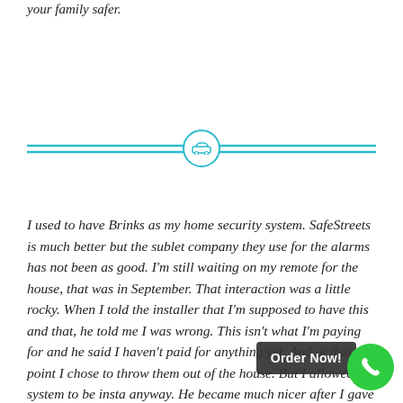your family safer.
[Figure (illustration): A teal horizontal double-line divider with a teal circle in the center containing a car icon]
I used to have Brinks as my home security system. SafeStreets is much better but the sublet company they use for the alarms has not been as good. I'm still waiting on my remote for the house, that was in September. That interaction was a little rocky. When I told the installer that I'm supposed to have this and that, he told me I was wrong. This isn't what I'm paying for and he said I haven't paid for anything yet. And at that point I chose to throw them out of the house. But I allowed the system to be installed anyway. He became much nicer after I gave him the look of.